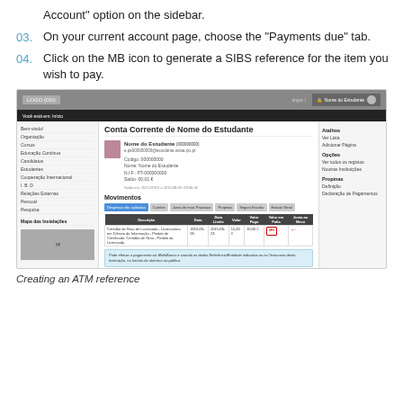Account" option on the sidebar.
03. On your current account page, choose the "Payments due" tab.
04. Click on the MB icon to generate a SIBS reference for the item you wish to pay.
[Figure (screenshot): Screenshot of a university web portal showing the 'Conta Corrente de Nome do Estudante' page with a payments table (Movimentos), sidebar navigation, and a highlighted MB icon with red arrow indicating where to click to generate SIBS reference.]
Creating an ATM reference